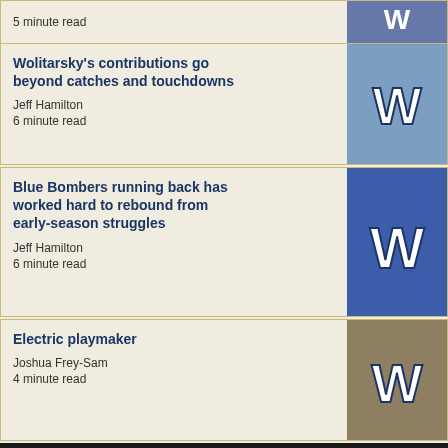5 minute read
Wolitarsky's contributions go beyond catches and touchdowns
Jeff Hamilton
6 minute read
Blue Bombers running back has worked hard to rebound from early-season struggles
Jeff Hamilton
6 minute read
Electric playmaker
Joshua Frey-Sam
4 minute read
ABOVE THE FOLD
Oliveira throwing his weight around
Joshua Frey-Sam